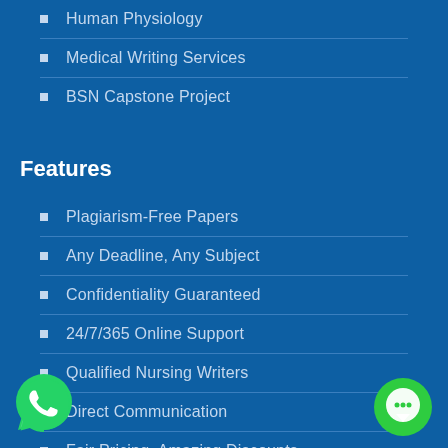Human Physiology
Medical Writing Services
BSN Capstone Project
Features
Plagiarism-Free Papers
Any Deadline, Any Subject
Confidentiality Guaranteed
24/7/365 Online Support
Qualified Nursing Writers
Direct Communication
Fair Pricing, Amazing Discounts